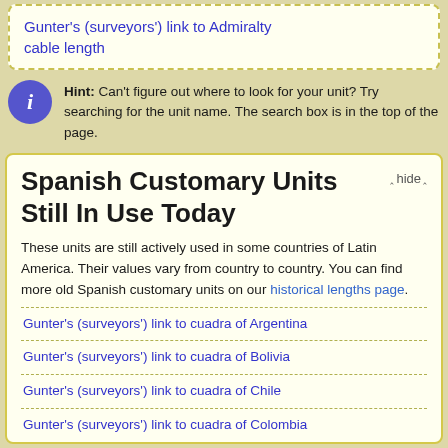Gunter's (surveyors') link to Admiralty cable length
Hint: Can't figure out where to look for your unit? Try searching for the unit name. The search box is in the top of the page.
Spanish Customary Units Still In Use Today
These units are still actively used in some countries of Latin America. Their values vary from country to country. You can find more old Spanish customary units on our historical lengths page.
Gunter's (surveyors') link to cuadra of Argentina
Gunter's (surveyors') link to cuadra of Bolivia
Gunter's (surveyors') link to cuadra of Chile
Gunter's (surveyors') link to cuadra of Colombia